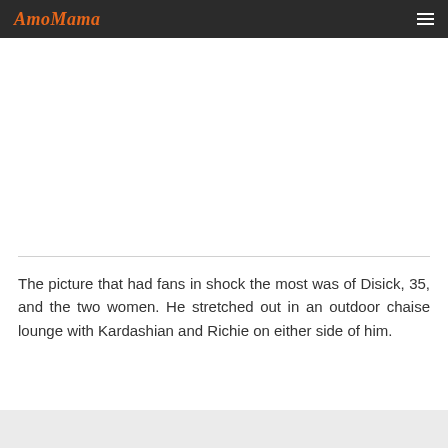AmoMama
[Figure (other): Advertisement/blank white area below header]
The picture that had fans in shock the most was of Disick, 35, and the two women. He stretched out in an outdoor chaise lounge with Kardashian and Richie on either side of him.